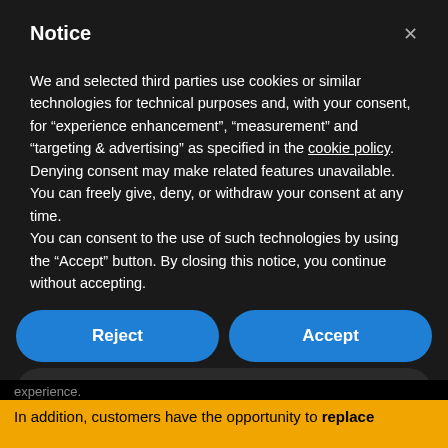Notice
We and selected third parties use cookies or similar technologies for technical purposes and, with your consent, for “experience enhancement”, “measurement” and “targeting & advertising” as specified in the cookie policy. Denying consent may make related features unavailable. You can freely give, deny, or withdraw your consent at any time.
You can consent to the use of such technologies by using the “Accept” button. By closing this notice, you continue without accepting.
Reject
Accept
Learn more and customize
experience.
In addition, customers have the opportunity to replace